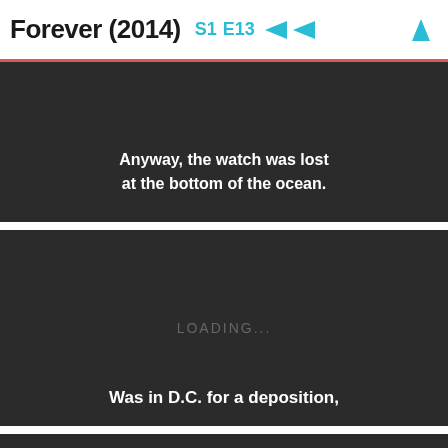Forever (2014) S1 E13
[Figure (screenshot): Dark video frame with white subtitle text: Anyway, the watch was lost at the bottom of the ocean.]
[Figure (screenshot): Dark video frame with LOADING... text and subtitle: Was in D.C. for a deposition,]
[Figure (screenshot): Dark video frame, partially visible at bottom of page]